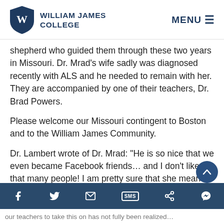William James College | MENU
shepherd who guided them through these two years in Missouri. Dr. Mrad's wife sadly was diagnosed recently with ALS and he needed to remain with her. They are accompanied by one of their teachers, Dr. Brad Powers.
Please welcome our Missouri contingent to Boston and to the William James Community.
Dr. Lambert wrote of Dr. Mrad: “He is so nice that we even became Facebook friends… and I don’t like that many people! I am pretty sure that she meant that she doesn’t “Like” that many people in the Facebook wa
[Social share bar: Facebook, Twitter, Email, SMS, Share, Messenger]